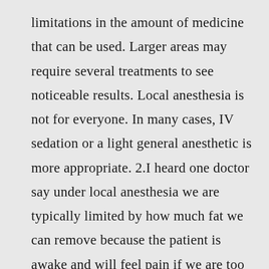limitations in the amount of medicine that can be used. Larger areas may require several treatments to see noticeable results. Local anesthesia is not for everyone. In many cases, IV sedation or a light general anesthetic is more appropriate. 2.I heard one doctor say under local anesthesia we are typically limited by how much fat we can remove because the patient is awake and will feel pain if we are too close to painful